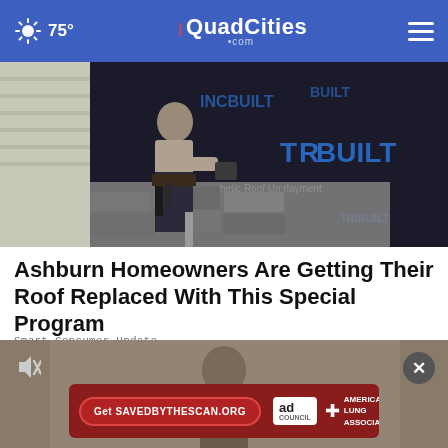75° | QuadCities .com
[Figure (photo): Roofer sitting on a roof installing shingles with TRuBuilt synthetic roof underlayment visible in background]
Ashburn Homeowners Are Getting Their Roof Replaced With This Special Program
Smart Consumer Update
[Figure (photo): Video player thumbnail showing a person, with mute icon on left and close X button on right, and an American Lung Association ad banner reading Get SAVEDBYTHESCAN.ORG with Ad Council badge]